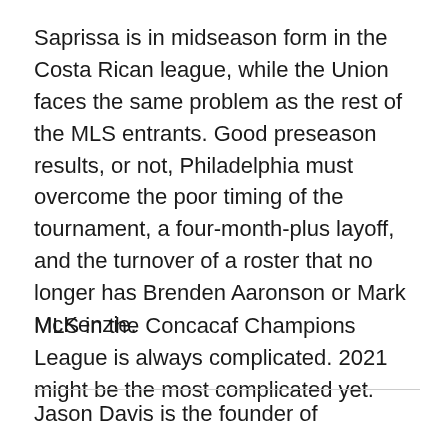Saprissa is in midseason form in the Costa Rican league, while the Union faces the same problem as the rest of the MLS entrants. Good preseason results, or not, Philadelphia must overcome the poor timing of the tournament, a four-month-plus layoff, and the turnover of a roster that no longer has Brenden Aaronson or Mark McKenzie.
MLS in the Concacaf Champions League is always complicated. 2021 might be the most complicated yet.
Jason Davis is the founder of